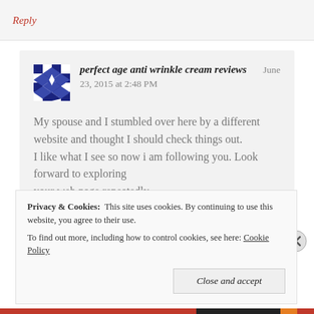Reply
perfect age anti wrinkle cream reviews  June 23, 2015 at 2:48 PM
My spouse and I stumbled over here by a different website and thought I should check things out.
I like what I see so now i am following you. Look forward to exploring
your web page repeatedly.
Privacy & Cookies:  This site uses cookies. By continuing to use this website, you agree to their use.
To find out more, including how to control cookies, see here: Cookie Policy
Close and accept